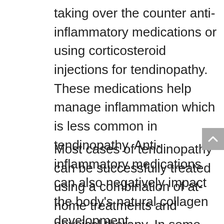taking over the counter anti-inflammatory medications or using corticosteroid injections for tendinopathy. These medications help manage inflammation which is less common in tendinopathy. Anti-inflammatory medications can also negatively impact the body's natural collagen development.
Most cases of tendinopathy can be successfully treated using a combination of at-home treatments and physical therapy. In some more advanced cases, surgery may be